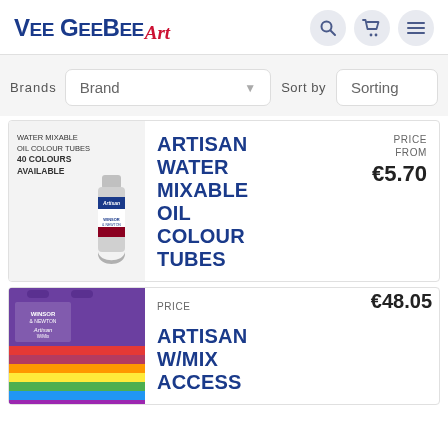[Figure (logo): VeeGeeBee Art logo — blue bold sans-serif text with red italic art]
Brands   Brand ▾   Sort by   Sorting
PRICE FROM   €5.70
[Figure (photo): Artisan Water Mixable Oil Colour tube product image with '40 Colours Available' label]
ARTISAN WATER MIXABLE OIL COLOUR TUBES
PRICE   €48.05
[Figure (photo): Artisan W/Mix Access set — purple box with colour tubes]
ARTISAN W/MIX ACCESS